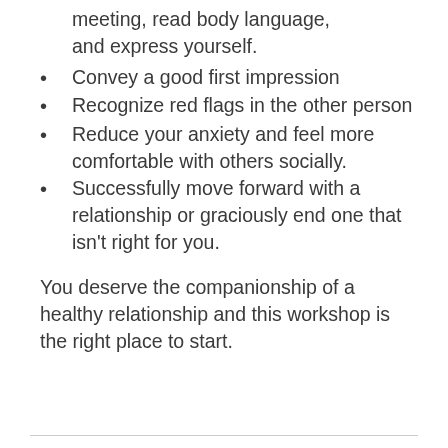meeting, read body language, and express yourself.
Convey a good first impression
Recognize red flags in the other person
Reduce your anxiety and feel more comfortable with others socially.
Successfully move forward with a relationship or graciously end one that isn't right for you.
You deserve the companionship of a healthy relationship and this workshop is the right place to start.